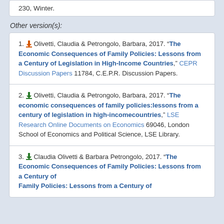230, Winter.
Other version(s):
1. Olivetti, Claudia & Petrongolo, Barbara, 2017. "The Economic Consequences of Family Policies: Lessons from a Century of Legislation in High-Income Countries," CEPR Discussion Papers 11784, C.E.P.R. Discussion Papers.
2. Olivetti, Claudia & Petrongolo, Barbara, 2017. "The economic consequences of family policies:lessons from a century of legislation in high-incomecountries," LSE Research Online Documents on Economics 69046, London School of Economics and Political Science, LSE Library.
3. Claudia Olivetti & Barbara Petrongolo, 2017. "The Economic Consequences of Family Policies: Lessons from a Century of